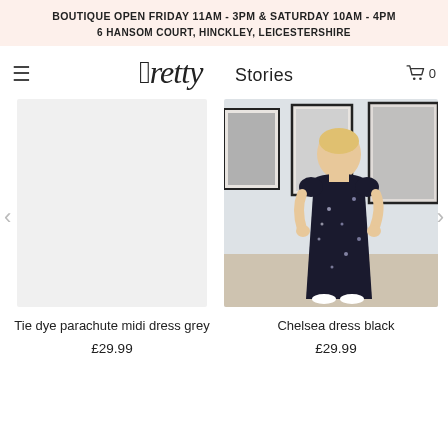BOUTIQUE OPEN FRIDAY 11AM - 3PM & SATURDAY 10AM - 4PM
6 HANSOM COURT, HINCKLEY, LEICESTERSHIRE
[Figure (logo): Pretty Stories script logo with shopping cart icon and menu hamburger]
[Figure (photo): Woman wearing Chelsea dress black - a dark floral maxi dress with short puffed sleeves, standing in a boutique with framed art on the wall]
Tie dye parachute midi dress grey
£29.99
Chelsea dress black
£29.99